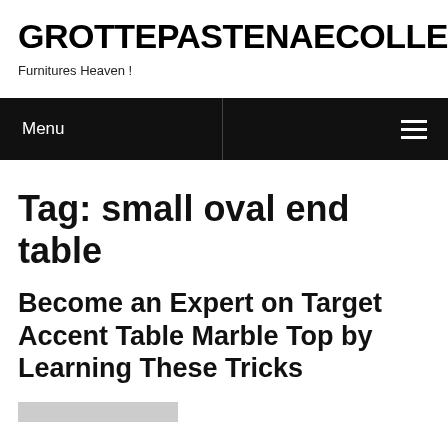GROTTEPASTENAECOLLEPARDO
Furnitures Heaven !
Menu
Tag: small oval end table
Become an Expert on Target Accent Table Marble Top by Learning These Tricks